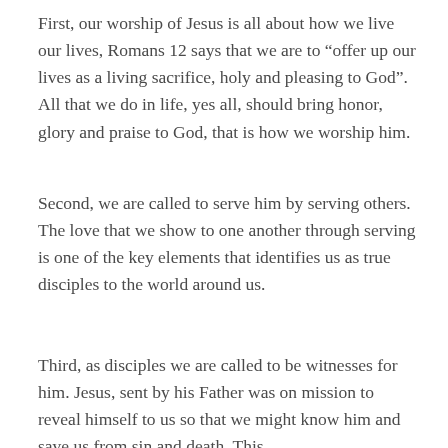First, our worship of Jesus is all about how we live our lives, Romans 12 says that we are to “offer up our lives as a living sacrifice, holy and pleasing to God”. All that we do in life, yes all, should bring honor, glory and praise to God, that is how we worship him.
Second, we are called to serve him by serving others. The love that we show to one another through serving is one of the key elements that identifies us as true disciples to the world around us.
Third, as disciples we are called to be witnesses for him. Jesus, sent by his Father was on mission to reveal himself to us so that we might know him and save us from sin and death. This